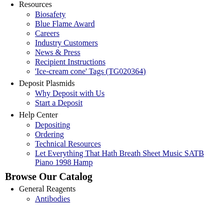Resources
Biosafety
Blue Flame Award
Careers
Industry Customers
News & Press
Recipient Instructions
'Ice-cream cone' Tags (TG020364)
Deposit Plasmids
Why Deposit with Us
Start a Deposit
Help Center
Depositing
Ordering
Technical Resources
Let Everything That Hath Breath Sheet Music SATB Piano 1998 Hamp
Browse Our Catalog
General Reagents
Antibodies